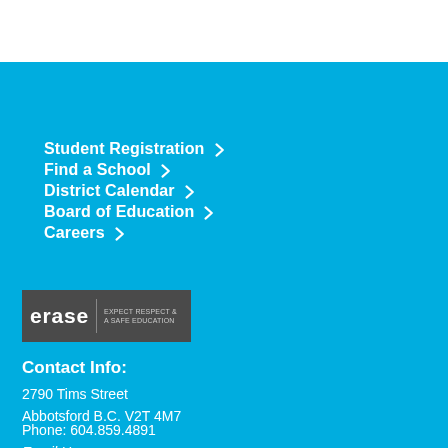Student Registration ›
Find a School ›
District Calendar ›
Board of Education ›
Careers ›
[Figure (logo): erase - Expect Respect & A Safe Education badge/logo on dark grey background]
Contact Info:
2790 Tims Street
Abbotsford B.C. V2T 4M7
Phone: 604.859.4891
Email Us »